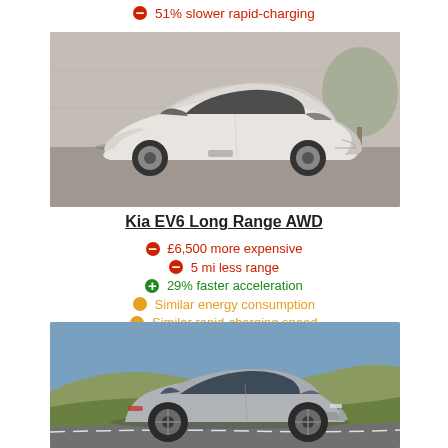51% slower rapid-charging
[Figure (photo): White Kia EV6 electric car parked near a concrete wall]
Kia EV6 Long Range AWD
£6,500 more expensive
5 mi less range
29% faster acceleration
Similar energy consumption
Similar rapid-charging speed
[Figure (photo): Silver Audi electric SUV driving on a road with hills in the background]